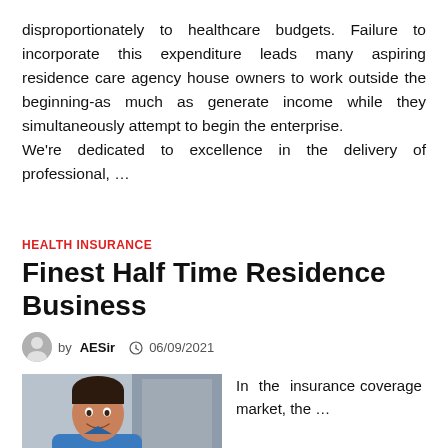disproportionately to healthcare budgets. Failure to incorporate this expenditure leads many aspiring residence care agency house owners to work outside the beginning-as much as generate income while they simultaneously attempt to begin the enterprise.
We're dedicated to excellence in the delivery of professional, …
HEALTH INSURANCE
Finest Half Time Residence Business
by AESir  06/09/2021
[Figure (photo): Photo of a man in medical/scrub attire, smiling, in a clinical setting]
In the insurance coverage market, the …